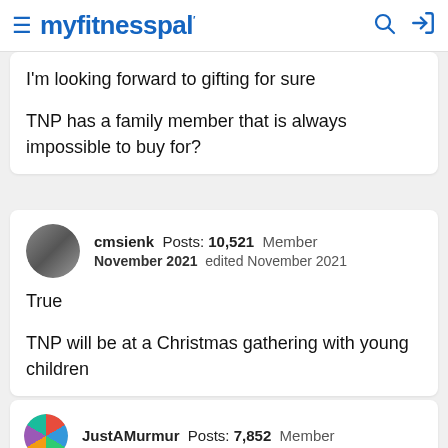myfitnesspal
I'm looking forward to gifting for sure

TNP has a family member that is always impossible to buy for?
cmsienk  Posts: 10,521  Member
November 2021  edited November 2021

True

TNP will be at a Christmas gathering with young children
JustAMurmur  Posts: 7,852  Member